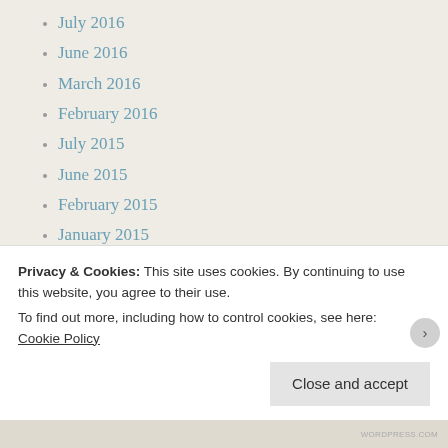July 2016
June 2016
March 2016
February 2016
July 2015
June 2015
February 2015
January 2015
December 2014
November 2014
October 2014
July 2014
June 2014
May 2014
April 2014
Privacy & Cookies: This site uses cookies. By continuing to use this website, you agree to their use.
To find out more, including how to control cookies, see here: Cookie Policy
Close and accept